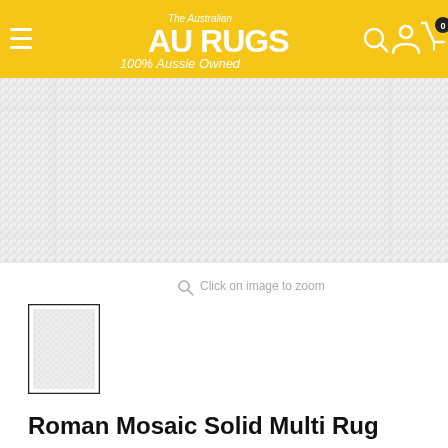[Figure (logo): AU RUGS - The Australian 100% Aussie Owned logo on yellow background with navigation icons]
[Figure (photo): Product image of a light-colored rug with subtle texture pattern, close-up view]
Click on image to zoom
[Figure (photo): Small thumbnail of the rug product image]
Roman Mosaic Solid Multi Rug